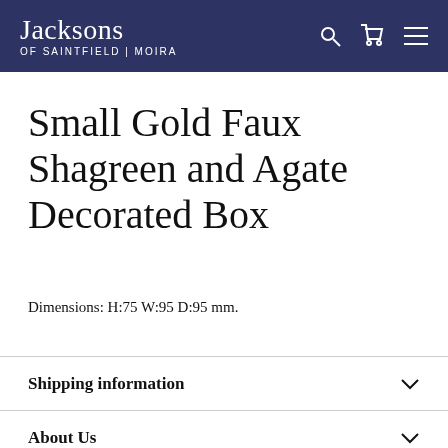Jacksons OF SAINTFIELD | MOIRA
Small Gold Faux Shagreen and Agate Decorated Box
Dimensions: H:75 W:95 D:95 mm.
Shipping information
About Us